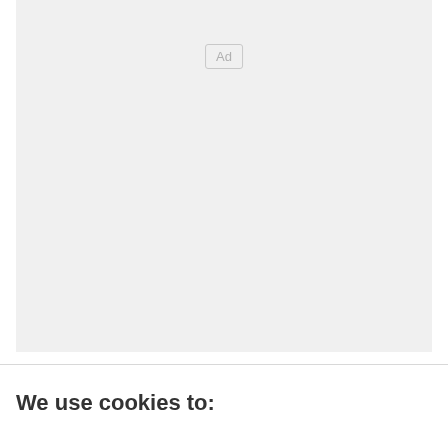[Figure (other): Advertisement placeholder box with 'Ad' label centered near the top]
We use cookies to: